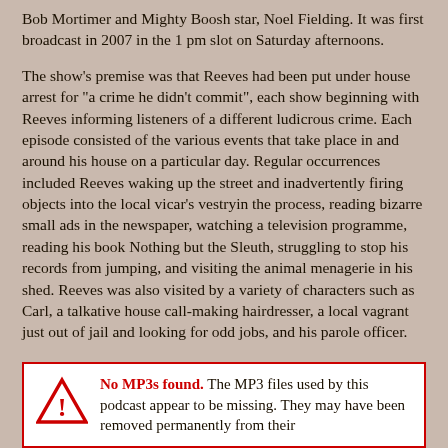Bob Mortimer and Mighty Boosh star, Noel Fielding. It was first broadcast in 2007 in the 1 pm slot on Saturday afternoons.
The show's premise was that Reeves had been put under house arrest for "a crime he didn't commit", each show beginning with Reeves informing listeners of a different ludicrous crime. Each episode consisted of the various events that take place in and around his house on a particular day. Regular occurrences included Reeves waking up the street and inadvertently firing objects into the local vicar's vestryin the process, reading bizarre small ads in the newspaper, watching a television programme, reading his book Nothing but the Sleuth, struggling to stop his records from jumping, and visiting the animal menagerie in his shed. Reeves was also visited by a variety of characters such as Carl, a talkative house call-making hairdresser, a local vagrant just out of jail and looking for odd jobs, and his parole officer.
No MP3s found. The MP3 files used by this podcast appear to be missing. They may have been removed permanently from their